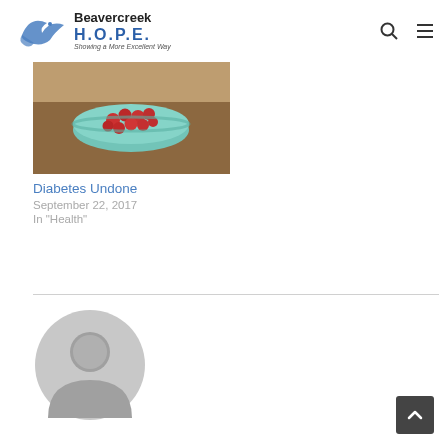Beavercreek H.O.P.E. — Showing a More Excellent Way
[Figure (photo): Photo of a bowl of red berries/tomatoes held by a person, cropped]
Diabetes Undone
September 22, 2017
In "Health"
[Figure (illustration): Generic user/author avatar placeholder icon (gray silhouette)]